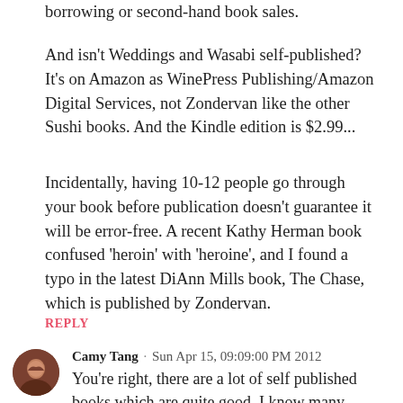borrowing or second-hand book sales.
And isn't Weddings and Wasabi self-published? It's on Amazon as WinePress Publishing/Amazon Digital Services, not Zondervan like the other Sushi books. And the Kindle edition is $2.99...
Incidentally, having 10-12 people go through your book before publication doesn't guarantee it will be error-free. A recent Kathy Herman book confused 'heroin' with 'heroine', and I found a typo in the latest DiAnn Mills book, The Chase, which is published by Zondervan.
REPLY
Camy Tang · Sun Apr 15, 09:09:00 PM 2012
You're right, there are a lot of self published books which are quite good. I know many authors who are self publishing their backlist or